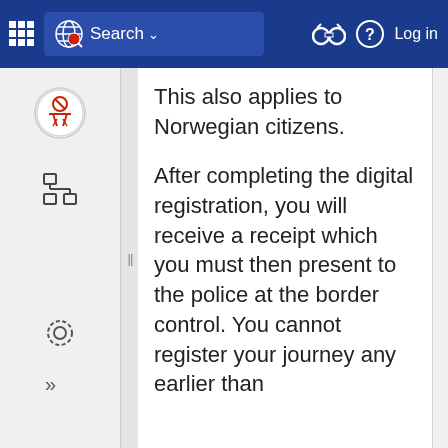Search
This also applies to Norwegian citizens.
After completing the digital registration, you will receive a receipt which you must then present to the police at the border control. You cannot register your journey any earlier than